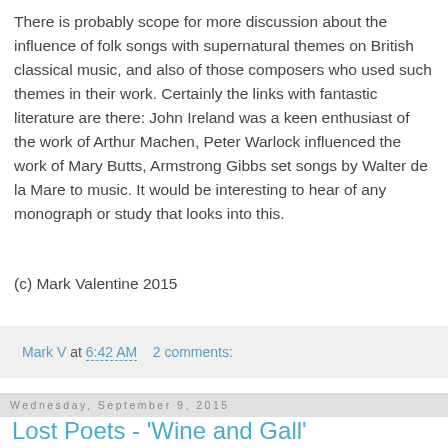There is probably scope for more discussion about the influence of folk songs with supernatural themes on British classical music, and also of those composers who used such themes in their work. Certainly the links with fantastic literature are there: John Ireland was a keen enthusiast of the work of Arthur Machen, Peter Warlock influenced the work of Mary Butts, Armstrong Gibbs set songs by Walter de la Mare to music. It would be interesting to hear of any monograph or study that looks into this.
(c) Mark Valentine 2015
Mark V at 6:42 AM    2 comments:
Wednesday, September 9, 2015
Lost Poets - 'Wine and Gall'
[Figure (photo): Book cover with red and cream decorative pattern, showing a cloth or textile with floral/art nouveau design in dark red on beige background]